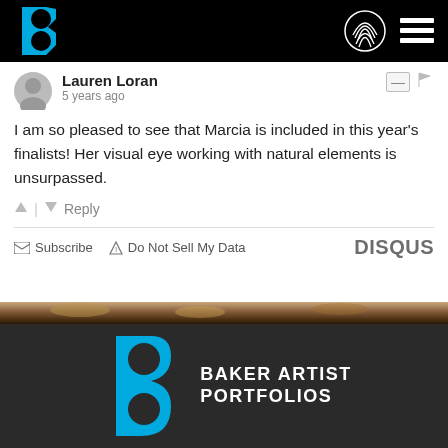[Figure (logo): Baker Artist Portfolios logo in blue and white on black navigation bar with fingerprint icon and hamburger menu]
Lauren Loran
5 years ago
I am so pleased to see that Marcia is included in this year's finalists! Her visual eye working with natural elements is unsurpassed.
Reply
Subscribe   Do Not Sell My Data   DISQUS
[Figure (photo): Narrow strip of natural elements, mushrooms and organic material]
[Figure (logo): Baker Artist Portfolios large blue logo on dark background with text BAKER ARTIST PORTFOLIOS]